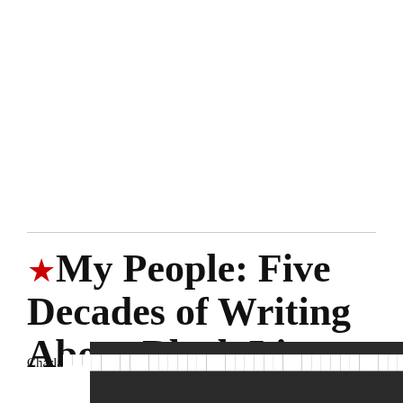★My People: Five Decades of Writing About Black Lives
Charla... 978-